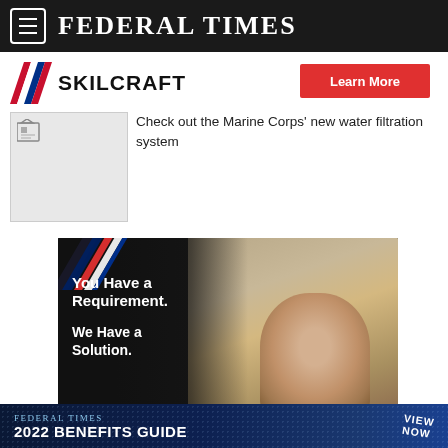FEDERAL TIMES
[Figure (logo): SKILCRAFT logo with diagonal chevron stripes in red, white and blue]
[Figure (other): Learn More button in red]
[Figure (photo): Thumbnail image placeholder for article about Marine Corps water filtration system]
Check out the Marine Corps' new water filtration system
[Figure (infographic): SKILCRAFT advertisement banner with text 'You Have a Requirement. We Have a Solution.' over image of smiling person with diagonal red/white/blue stripes in corner]
FEDERAL TIMES 2022 BENEFITS GUIDE VIEW NOW